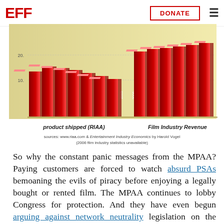EFF | DONATE
[Figure (bar-chart): 3D bar chart showing RIAA product shipped (2000-2006) on left and Film Industry Revenue (2000-2005) on right, with y-axis values 10 and 20 visible]
sources: www.riaa.com & Entertainment Industry Economics by Harold Vogel
(2006 film industry statistics unavailable)
So why the constant panic messages from the MPAA? Paying customers are forced to watch absurd PSAs bemoaning the evils of piracy before enjoying a legally bought or rented film. The MPAA continues to lobby Congress for protection. And they have even begun arguing against network neutrality legislation on the grounds that it would interfere with P2P filtering by ISPs